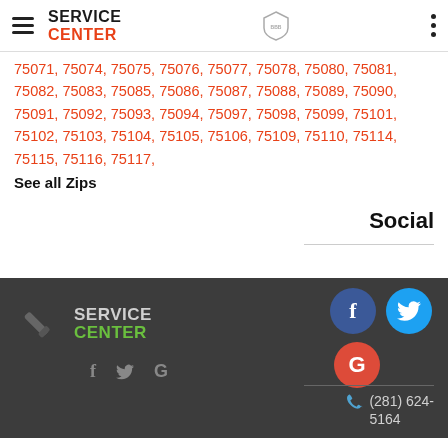SERVICE CENTER header with BBB logo
75071, 75074, 75075, 75076, 75077, 75078, 75080, 75081, 75082, 75083, 75085, 75086, 75087, 75088, 75089, 75090, 75091, 75092, 75093, 75094, 75097, 75098, 75099, 75101, 75102, 75103, 75104, 75105, 75106, 75109, 75110, 75114, 75115, 75116, 75117,
See all Zips
Social
[Figure (logo): Service Center logo with wrench icon, green CENTER text on dark background]
[Figure (infographic): Social media icons: Facebook (blue circle with f), Twitter (cyan circle with bird), Google (red circle with G)]
(281) 624-5164